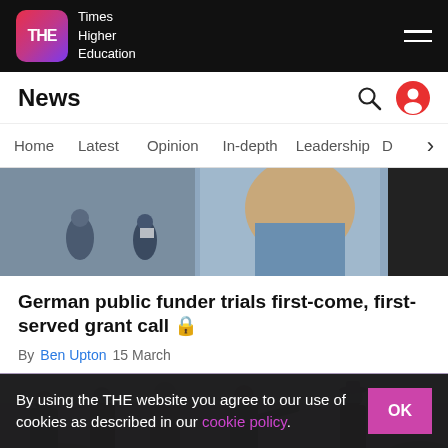THE Times Higher Education
News
Home  Latest  Opinion  In-depth  Leadership  D  >
[Figure (photo): People in front of a mural, one person wearing a mask]
German public funder trials first-come, first-served grant call 🔒
By Ben Upton  15 March
[Figure (photo): Vintage purple-tinted photo of women in traditional dress near livestock]
By using the THE website you agree to our use of cookies as described in our cookie policy.